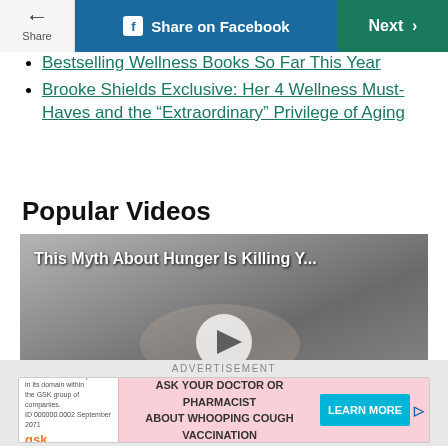Share | Share on Facebook | Next
Bestselling Wellness Books So Far This Year
Brooke Shields Exclusive: Her 4 Wellness Must-Haves and the “Extraordinary” Privilege of Aging
Popular Videos
[Figure (screenshot): Video thumbnail showing a person holding food, with text overlay 'This Myth About Hunger Is Killing Y...' and a play button]
ADVERTISEMENT
[Figure (other): Advertisement banner: Ask Your Doctor Or Pharmacist About Whooping Cough Vaccination - Learn More (GSK/Pfizer)]